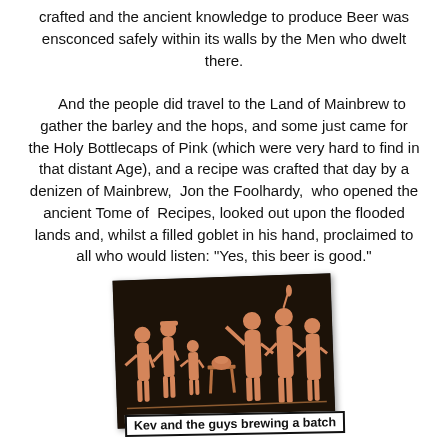crafted and the ancient knowledge to produce Beer was ensconced safely within its walls by the Men who dwelt there.

And the people did travel to the Land of Mainbrew to gather the barley and the hops, and some just came for the Holy Bottlecaps of Pink (which were very hard to find in that distant Age), and a recipe was crafted that day by a denizen of Mainbrew, Jon the Foolhardy, who opened the ancient Tome of Recipes, looked out upon the flooded lands and, whilst a filled goblet in his hand, proclaimed to all who would listen: "Yes, this beer is good."
[Figure (illustration): Ancient Greek pottery style illustration showing several robed figures gathered together, some with raised arms, around what appears to be a central table or altar. The figures are rendered in terracotta/orange tones on a dark background, styled like classical Greek vase painting.]
Kev and the guys brewing a batch
A roar rose that day from the throats of those that heard